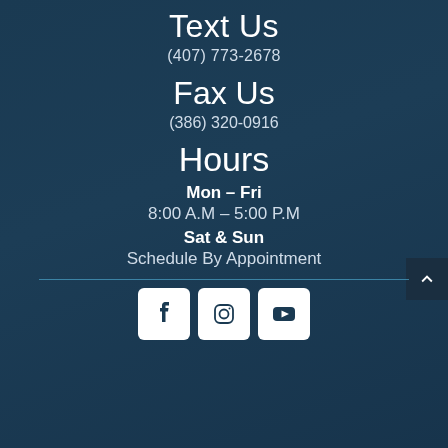Text Us
(407) 773-2678
Fax Us
(386) 320-0916
Hours
Mon – Fri
8:00 A.M – 5:00 P.M
Sat & Sun
Schedule By Appointment
[Figure (other): Social media icons: Facebook, Instagram, YouTube]